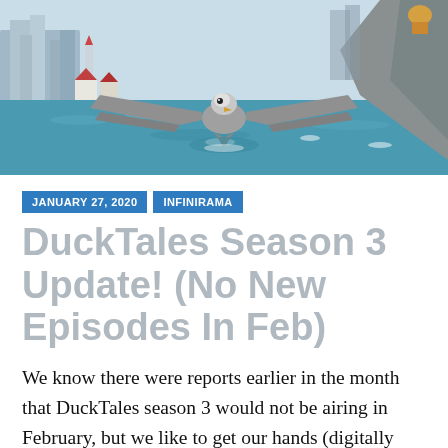[Figure (illustration): Animated illustration showing a large bird (seagull/albatross) with wings spread flying low over water, with a coastal town and rocky cliffs in the background. Style matches DuckTales animated series.]
JANUARY 27, 2020
INFINIRAMA
DuckTales Season 3 Update! (No New Episodes In Feb)
We know there were reports earlier in the month that DuckTales season 3 would not be airing in February, but we like to get our hands (digitally